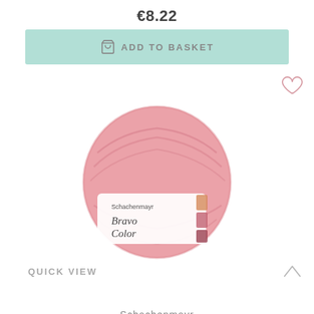€8.22
ADD TO BASKET
[Figure (photo): A pink ball of Schachenmayr Bravo Color yarn with a white label showing the brand name and product name 'Bravo Color'. The yarn ball is large and fluffy, in a dusty rose/pink color. A small color swatch band is visible on the label's right side.]
QUICK VIEW
Schachenmayr